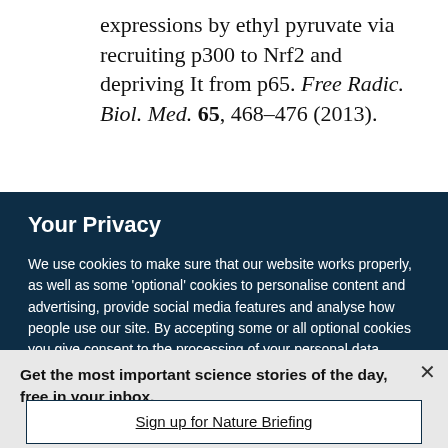expressions by ethyl pyruvate via recruiting p300 to Nrf2 and depriving It from p65. Free Radic. Biol. Med. 65, 468–476 (2013).
Your Privacy
We use cookies to make sure that our website works properly, as well as some 'optional' cookies to personalise content and advertising, provide social media features and analyse how people use our site. By accepting some or all optional cookies you give consent to the processing of your personal data, including transfer to third parties, some in countries outside of the European Economic Area that do not offer the same data protection standards as the country where you live. You can decide which optional cookies to accept by clicking on 'Manage Settings', where you can
Get the most important science stories of the day, free in your inbox.
Sign up for Nature Briefing